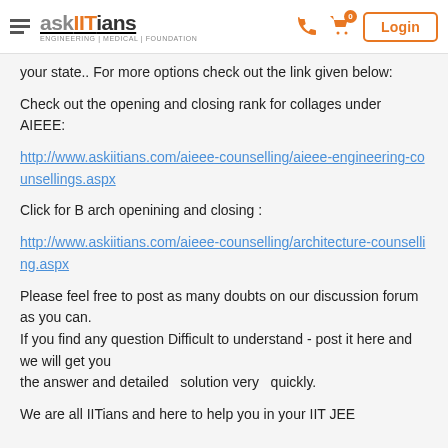askIITians ENGINEERING | MEDICAL | FOUNDATION — Login
your state.. For more options check out the link given below:
Check out the opening and closing rank for collages under AIEEE:
http://www.askiitians.com/aieee-counselling/aieee-engineering-counsellings.aspx
Click for B arch openining and closing :
http://www.askiitians.com/aieee-counselling/architecture-counselling.aspx
Please feel free to post as many doubts on our discussion forum as you can.
If you find any question Difficult to understand - post it here and we will get you
the answer and detailed  solution very  quickly.
We are all IITians and here to help you in your IIT JEE